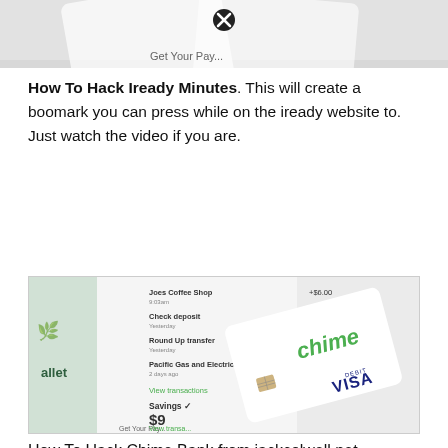[Figure (photo): Top portion of a webpage screenshot showing a partial image with a close/X button overlay]
How To Hack Iready Minutes. This will create a boomark you can press while on the iready website to. Just watch the video if you are.
[Figure (photo): Photo of a Chime bank debit VISA card overlaid on a smartphone screen showing Chime app transactions including Joes Coffee Shop +$6.00, Check deposit +$576.33, Round Up transfer -$0.98, Pacific Gas and Electric -$42.0_, Savings $9, with View transactions links visible]
How To Hack Chime Bank from jackcolwell.net
It's the worst education tool anyone could ever use. Im